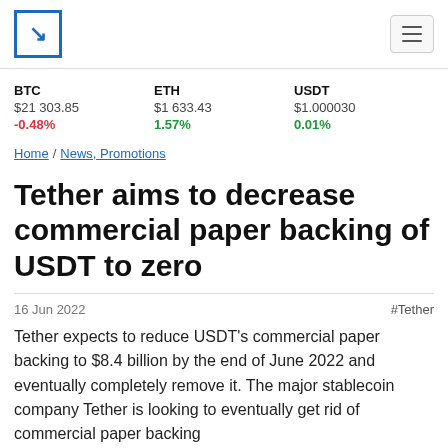Coindesk logo and navigation
BTC $21 303.85 -0.48% | ETH $1 633.43 1.57% | USDT $1.000030 0.01%
Home / News, Promotions
Tether aims to decrease commercial paper backing of USDT to zero
16 Jun 2022 #Tether
Tether expects to reduce USDT's commercial paper backing to $8.4 billion by the end of June 2022 and eventually completely remove it. The major stablecoin company Tether is looking to eventually get rid of commercial paper backing